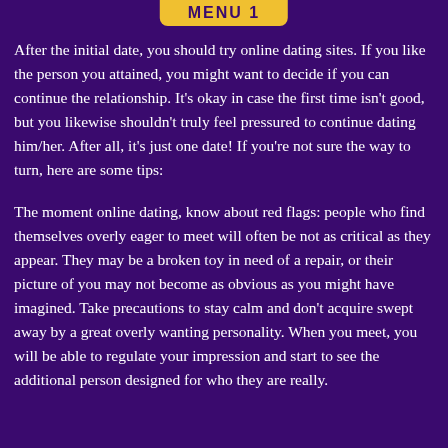MENU 1
After the initial date, you should try online dating sites. If you like the person you attained, you might want to decide if you can continue the relationship. It's okay in case the first time isn't good, but you likewise shouldn't truly feel pressured to continue dating him/her. After all, it's just one date! If you're not sure the way to turn, here are some tips:
The moment online dating, know about red flags: people who find themselves overly eager to meet will often be not as critical as they appear. They may be a broken toy in need of a repair, or their picture of you may not become as obvious as you might have imagined. Take precautions to stay calm and don't acquire swept away by a great overly wanting personality. When you meet, you will be able to regulate your impression and start to see the additional person designed for who they are really.